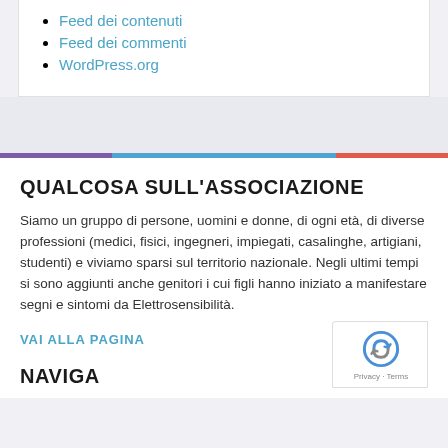Feed dei contenuti
Feed dei commenti
WordPress.org
QUALCOSA SULL'ASSOCIAZIONE
Siamo un gruppo di persone, uomini e donne, di ogni età, di diverse professioni (medici, fisici, ingegneri, impiegati, casalinghe, artigiani, studenti) e viviamo sparsi sul territorio nazionale. Negli ultimi tempi si sono aggiunti anche genitori i cui figli hanno iniziato a manifestare segni e sintomi da Elettrosensibilità.
VAI ALLA PAGINA
NAVIGA